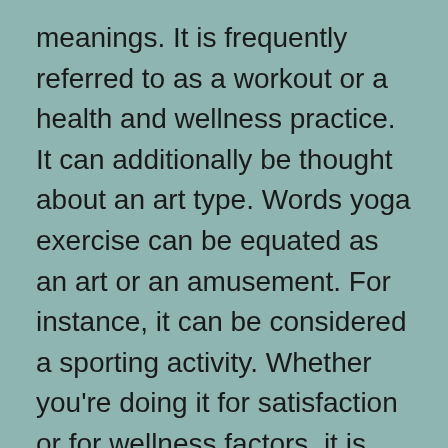meanings. It is frequently referred to as a workout or a health and wellness practice. It can additionally be thought about an art type. Words yoga exercise can be equated as an art or an amusement. For instance, it can be considered a sporting activity. Whether you're doing it for satisfaction or for wellness factors, it is necessary to exercise Yoga exercise continually. It is among the best methods to improve your general wellness and get one of the most out of life.
Yoga is a collection of spiritual, mental, and physical exercises that originated in old India